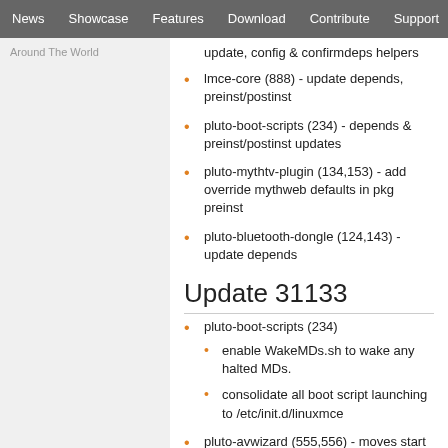News | Showcase | Features | Download | Contribute | Support
Around The World
update, config & confirmdeps helpers
lmce-core (888) - update depends, preinst/postinst
pluto-boot-scripts (234) - depends & preinst/postinst updates
pluto-mythtv-plugin (134,153) - add override mythweb defaults in pkg preinst
pluto-bluetooth-dongle (124,143) - update depends
Update 31133
pluto-boot-scripts (234)
enable WakeMDs.sh to wake any halted MDs.
consolidate all boot script launching to /etc/init.d/linuxmce
pluto-avwizard (555,556) - moves start script to /usr/pluto/bin, called